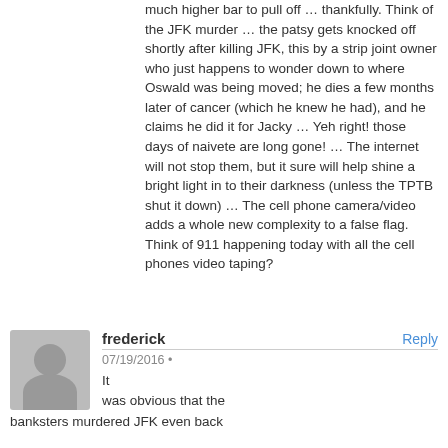much higher bar to pull off … thankfully. Think of the JFK murder … the patsy gets knocked off shortly after killing JFK, this by a strip joint owner who just happens to wonder down to where Oswald was being moved; he dies a few months later of cancer (which he knew he had), and he claims he did it for Jacky … Yeh right! those days of naivete are long gone! … The internet will not stop them, but it sure will help shine a bright light in to their darkness (unless the TPTB shut it down) … The cell phone camera/video adds a whole new complexity to a false flag. Think of 911 happening today with all the cell phones video taping?
frederick
07/19/2016
It was obvious that the banksters murdered JFK even back
Reply